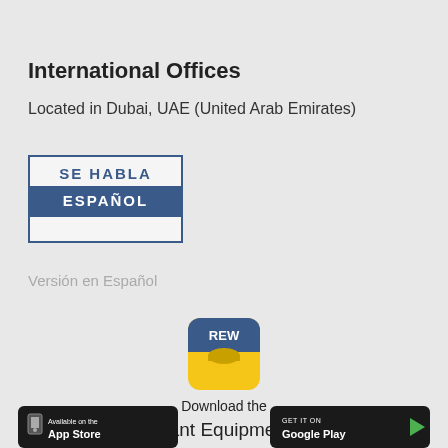International Offices
Located in Dubai, UAE (United Arab Emirates)
[Figure (logo): Se Habla Español badge logo with blue background on lower half and white on upper portion]
Versión en Español
[Figure (logo): REW Restaurant Equipment World app icon - yellow and blue with a hand holding a cloche]
Download the Restaurant Equipment World App Today!
[Figure (logo): Available on the App Store button (black)]
[Figure (logo): GET IT ON Google Play button (black)]